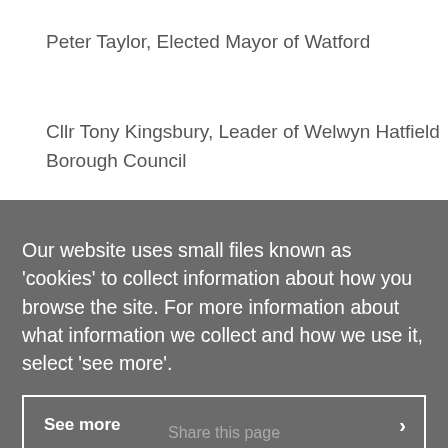Peter Taylor, Elected Mayor of Watford
Cllr Tony Kingsbury, Leader of Welwyn Hatfield Borough Council
Our website uses small files known as 'cookies' to collect information about how you browse the site. For more information about what information we collect and how we use it, select 'see more'.
See more
Hide this message
Share this page